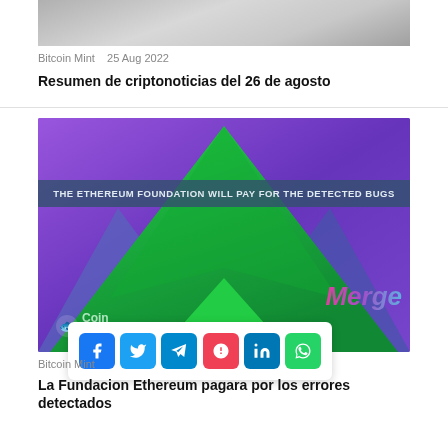[Figure (photo): Top portion of a photo showing a textured floor or surface with geometric shapes]
Bitcoin Mint   25 Aug 2022
Resumen de criptonoticias del 26 de agosto
[Figure (illustration): Ethereum Foundation bug bounty image: purple background with large green triangle (Ethereum logo shape), dark banner reading 'THE ETHEREUM FOUNDATION WILL PAY FOR THE DETECTED BUGS', 'Merge' text in pink/purple gradient, CoinShark logo at bottom left]
[Figure (infographic): Social share bar with icons for Facebook, Twitter, Telegram, Pocket, LinkedIn, WhatsApp]
Bitcoin Mint
La Fundacion Ethereum pagara por los errores detectados